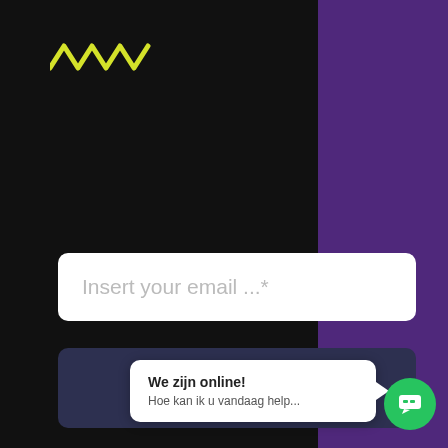[Figure (logo): Yellow squiggly wave logo mark in top left]
Insert your email ...*
Subscribe
Curabitur non nulla sit amet nisl tempus convallis quis ac lectus dolor sit ame adipiscing el us.
We zijn online!
Hoe kan ik u vandaag help...